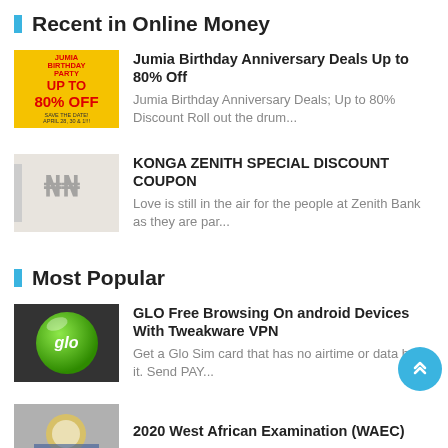Recent in Online Money
[Figure (illustration): Jumia Birthday Party ad with 80% Off banner in yellow]
Jumia Birthday Anniversary Deals Up to 80% Off
Jumia Birthday Anniversary Deals; Up to 80% Discount Roll out the drum...
[Figure (illustration): Konga Zenith blurred thumbnail image]
KONGA ZENITH SPECIAL DISCOUNT COUPON
Love is still in the air for the people at Zenith Bank as they are par...
Most Popular
[Figure (logo): Glo sim card logo - green circle with glo text on dark background]
GLO Free Browsing On android Devices With Tweakware VPN
Get a Glo Sim card that has no airtime or data b on it. Send PAY...
[Figure (photo): 2020 West African Examination WAEC thumbnail]
2020 West African Examination (WAEC)